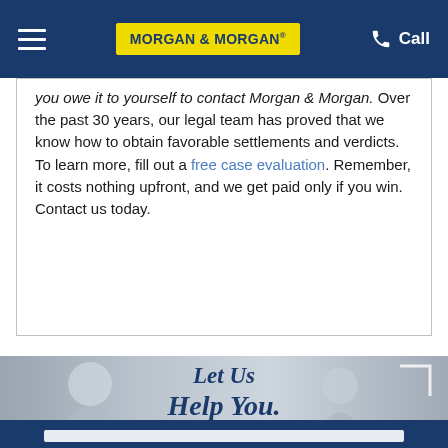Morgan & Morgan — navigation bar with hamburger menu, logo, and Call button
you owe it to yourself to contact Morgan & Morgan. Over the past 30 years, our legal team has proved that we know how to obtain favorable settlements and verdicts. To learn more, fill out a free case evaluation. Remember, it costs nothing upfront, and we get paid only if you win. Contact us today.
[Figure (photo): Background photo of two people (older man and younger woman) in a consultation setting, with 'Let Us Help You.' text overlay in dark blue serif italic font]